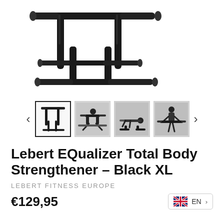[Figure (photo): Main product image of Lebert EQualizer Total Body Strengthener in black XL — a parallel bars/dip station fitness equipment viewed from the front, showing black metal bars and horizontal handles]
[Figure (photo): Thumbnail carousel with 4 product images: (1) product standalone shot selected with border, (2) person using the equalizer in a push-up/dip exercise, (3) person using equalizer in another exercise position, (4) person sitting/standing on the equalizer. Navigation arrows on both sides.]
Lebert EQualizer Total Body Strengthener – Black XL
LEBERT FITNESS EUROPE
€129,95